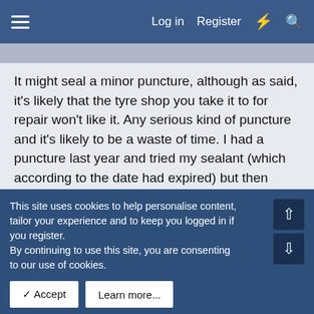Log in   Register
It might seal a minor puncture, although as said, it's likely that the tyre shop you take it to for repair won't like it. Any serious kind of puncture and it's likely to be a waste of time. I had a puncture last year and tried my sealant (which according to the date had expired) but then discovered that the tyre was burst on the inner sidewall, well beyond any repair. The recovery driver who came to take me home reckoned he'd never seen one that worked - although you could say that might be because he never has to recover the ones that have used it successfully.
When the car was in for a service a while later at a Mercedes dealer, they offered to replace the sealant, IIRC for around
This site uses cookies to help personalise content, tailor your experience and to keep you logged in if you register.
By continuing to use this site, you are consenting to our use of cookies.